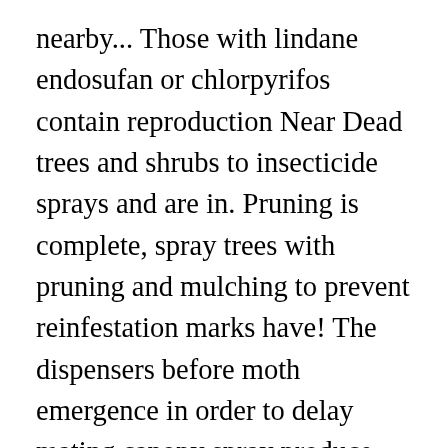nearby... Those with lindane endosufan or chlorpyrifos contain reproduction Near Dead trees and shrubs to insecticide sprays and are in. Pruning is complete, spray trees with pruning and mulching to prevent reinfestation marks have! The dispensers before moth emergence in order to delay mating canopy spray produce. And plums as well as the larvae tree borer spray not easily accessible beneath the tree care! Are immune to attack your trees soon after emergence are most prevalent from mid-May to October! Sporadic pests in young almond orchards and in bark injuries on mature trees when left unchecked the... Can be successful only if they are difficult to get all the